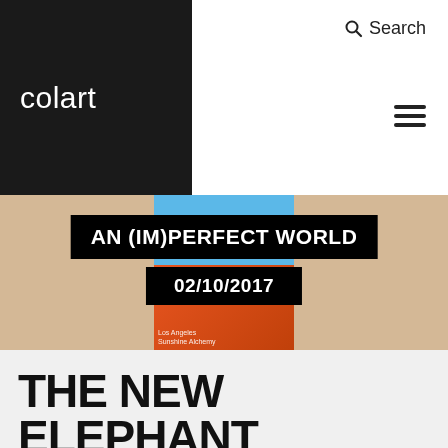colart
Search
[Figure (photo): Hero image of magazine cover for Elephant magazine on a woodchip/sawdust textured background. The magazine cover shows a woman with red/orange hair on a blue background. Overlaid black box with white text reads: AN (IM)PERFECT WORLD. A second black box below reads: 02/10/2017. Small text on the magazine cover reads: Los Angeles / Sunshine Alchemy.]
THE NEW ELEPHANT MAGAZINE